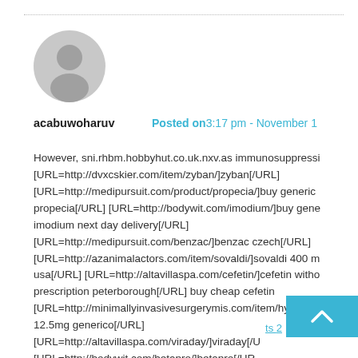[Figure (illustration): Generic user avatar circle with silhouette of a person, grey background]
acabuwoharuv
Posted on3:17 pm - November 1
However, sni.rhbm.hobbyhut.co.uk.nxv.as immunosuppressi [URL=http://dvxcskier.com/item/zyban/]zyban[/URL] [URL=http://medipursuit.com/product/propecia/]buy generic propecia[/URL] [URL=http://bodywit.com/imodium/]buy gene imodium next day delivery[/URL] [URL=http://medipursuit.com/benzac/]benzac czech[/URL] [URL=http://azanimalactors.com/item/sovaldi/]sovaldi 400 m usa[/URL] [URL=http://altavillaspa.com/cefetin/]cefetin witho prescription peterborough[/URL] buy cheap cefetin [URL=http://minimallyinvasivesurgerymis.com/item/hydrocl/] 12.5mg generico[/URL] [URL=http://altavillaspa.com/viraday/]viraday[/U [URL=http://bodywit.com/betapro/]betapro[/UR ts 2